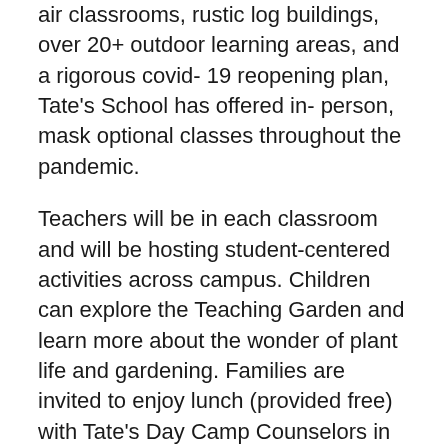air classrooms, rustic log buildings, over 20+ outdoor learning areas, and a rigorous covid-19 reopening plan, Tate's School has offered in-person, mask optional classes throughout the pandemic.
Teachers will be in each classroom and will be hosting student-centered activities across campus. Children can explore the Teaching Garden and learn more about the wonder of plant life and gardening. Families are invited to enjoy lunch (provided free) with Tate's Day Camp Counselors in the picnic area by our boating and fishing pond and play on the wonderful playgrounds. Chris Strevel, Executive Director of Tate's Day Camp says, “Our weekly camp themes make each summer so very different and fun, year after year.” Camp themes are detailed on the Tate’s Day Camp website and feature a variety such as Pirate